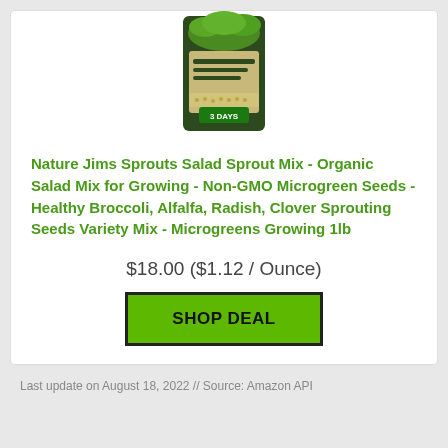[Figure (photo): Product image of Nature Jims Sprouts Salad Sprout Mix seed package, partially cropped at top]
Nature Jims Sprouts Salad Sprout Mix - Organic Salad Mix for Growing - Non-GMO Microgreen Seeds - Healthy Broccoli, Alfalfa, Radish, Clover Sprouting Seeds Variety Mix - Microgreens Growing 1lb
$18.00 ($1.12 / Ounce)
SHOP DEAL
Last update on August 18, 2022 // Source: Amazon API